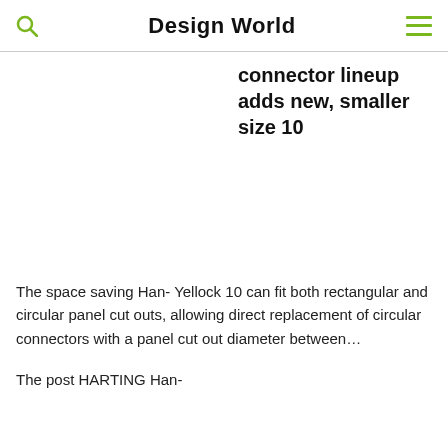Design World
connector lineup adds new, smaller size 10
The space saving Han- Yellock 10 can fit both rectangular and circular panel cut outs, allowing direct replacement of circular connectors with a panel cut out diameter between…
The post HARTING Han-